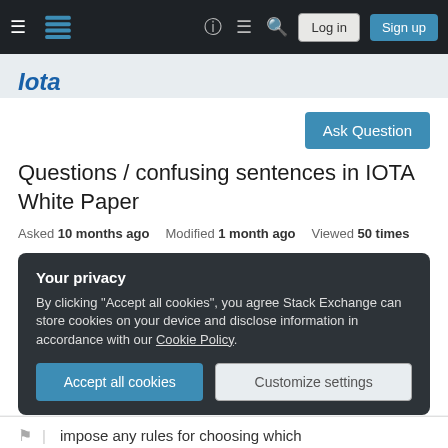≡  [Logo]  ?  ≡  🔍  Log in  Sign up
Iota
Ask Question
Questions / confusing sentences in IOTA White Paper
Asked 10 months ago   Modified 1 month ago   Viewed 50 times
Your privacy
By clicking "Accept all cookies", you agree Stack Exchange can store cookies on your device and disclose information in accordance with our Cookie Policy.
Accept all cookies   Customize settings
impose any rules for choosing which